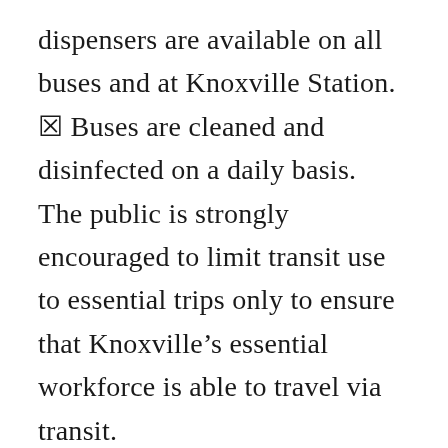dispensers are available on all buses and at Knoxville Station.
🗹 Buses are cleaned and disinfected on a daily basis.
The public is strongly encouraged to limit transit use to essential trips only to ensure that Knoxville's essential workforce is able to travel via transit.